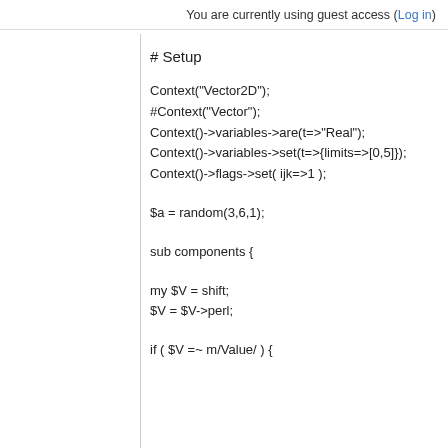You are currently using guest access (Log in)
# Setup
Context("Vector2D");
#Context("Vector");
Context()->variables->are(t=>"Real");
Context()->variables->set(t=>{limits=>[0,5]});
Context()->flags->set( ijk=>1 );
$a = random(3,6,1);
sub components {
my $V = shift;
$V = $V->perl;
if ( $V =~ m/Value/ ) {